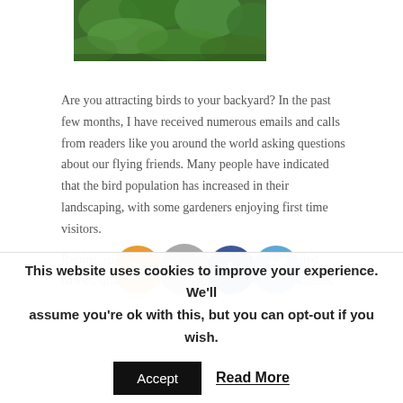[Figure (photo): Partial view of a leafy green plant/tree image cropped at the top of the page]
Are you attracting birds to your backyard? In the past few months, I have received numerous emails and calls from readers like you around the world asking questions about our flying friends. Many people have indicated that the bird population has increased in their landscaping, with some gardeners enjoying first time visitors.
Robins, sparrows, hummingbirds, crows, red tailed hawks, quail, mourning doves, jays, owls, chickadees,
This website uses cookies to improve your experience. We'll assume you're ok with this, but you can opt-out if you wish.